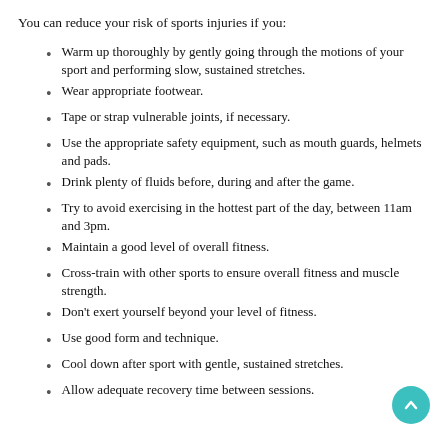You can reduce your risk of sports injuries if you:
Warm up thoroughly by gently going through the motions of your sport and performing slow, sustained stretches.
Wear appropriate footwear.
Tape or strap vulnerable joints, if necessary.
Use the appropriate safety equipment, such as mouth guards, helmets and pads.
Drink plenty of fluids before, during and after the game.
Try to avoid exercising in the hottest part of the day, between 11am and 3pm.
Maintain a good level of overall fitness.
Cross-train with other sports to ensure overall fitness and muscle strength.
Don't exert yourself beyond your level of fitness.
Use good form and technique.
Cool down after sport with gentle, sustained stretches.
Allow adequate recovery time between sessions.